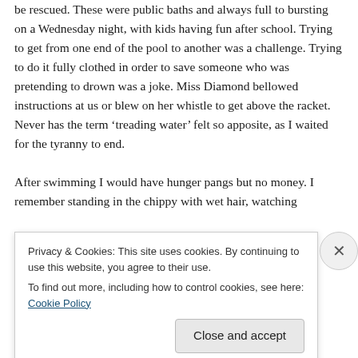be rescued. These were public baths and always full to bursting on a Wednesday night, with kids having fun after school. Trying to get from one end of the pool to another was a challenge. Trying to do it fully clothed in order to save someone who was pretending to drown was a joke. Miss Diamond bellowed instructions at us or blew on her whistle to get above the racket. Never has the term ‘treading water’ felt so apposite, as I waited for the tyranny to end.
After swimming I would have hunger pangs but no money. I remember standing in the chippy with wet hair, watching
Privacy & Cookies: This site uses cookies. By continuing to use this website, you agree to their use.
To find out more, including how to control cookies, see here: Cookie Policy
Close and accept